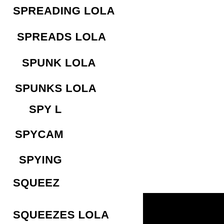SPREADING LOLA
SPREADS LOLA
SPUNK LOLA
SPUNKS LOLA
SPY L[OLA]
SPYCAM[...LOLA]
SPYING[...LOLA]
SQUEEZ[E LOLA]
SQUEEZES LOLA
[Figure (screenshot): A video player overlay showing a black screen with a loading spinner icon at center, and a video control bar at the bottom with play button, progress bar, time display reading 00:00/03:48, volume slider, and fullscreen button.]